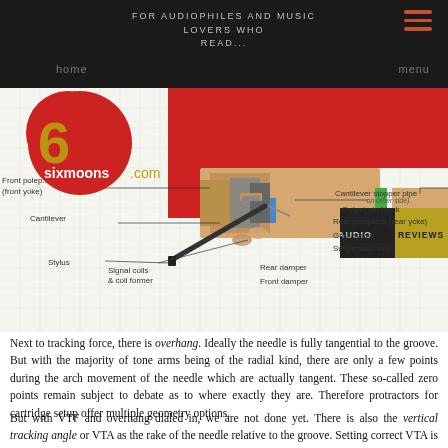For audiophiles and music lovers who read... home menu
[Figure (engineering-diagram): Cross-section diagram of a phono cartridge showing labeled components: Front polepiece (front yoke), Cantilever, Stylus, Signal coils & coil former, Front damper, Rear damper, Cantilever stopper pipe, Rear polepiece (rear yoke), Grub screw, Suspension wire, Output pin block. Also shows sixmoons.com logo overlay with Audio and Reviews navigation buttons.]
Next to tracking force, there is overhang. Ideally the needle is fully tangential to the groove. But with the majority of tone arms being of the radial kind, there are only a few points during the arch movement of the needle which are actually tangent. These so-called zero points remain subject to debate as to where exactly they are. Therefore protractors for cartridge setup offer multiple geometry options.
But with VTF and overhang dialed in, we are not done yet. There is also the vertical tracking angle or VTA as the rake of the needle relative to the groove. Setting correct VTA is done by raising or